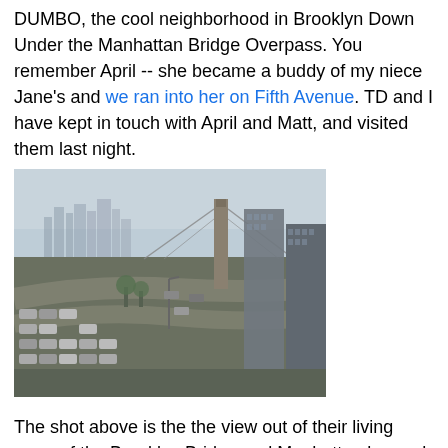DUMBO, the cool neighborhood in Brooklyn Down Under the Manhattan Bridge Overpass. You remember April -- she became a buddy of my niece Jane's and we ran into her on Fifth Avenue. TD and I have kept in touch with April and Matt, and visited them last night.
[Figure (photo): Aerial/elevated view of DUMBO Brooklyn showing the Brooklyn Bridge tower, surrounding streets with parked cars, and the Manhattan skyline in the hazy background.]
The shot above is the the view out of their living room of the Brooklyn Bridge and Manhattan beyond -- also spectacular at night.
Here are Matt, April and TD enjoying the view.
[Figure (photo): Partial photo of Matt, April and TD enjoying the view, showing warm indoor tones.]